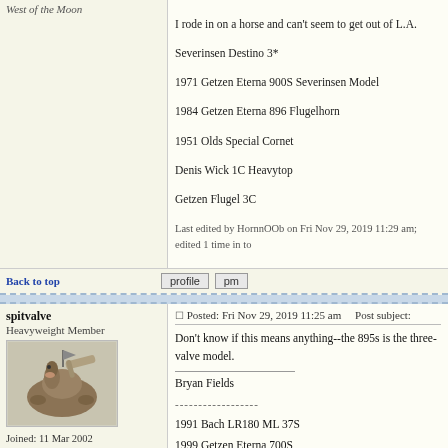West of the Moon (partial, clipped at top)
I rode in on a horse and can't seem to get out of L.A.

Severinsen Destino 3*
1971 Getzen Eterna 900S Severinsen Model
1984 Getzen Eterna 896 Flugelhorn
1951 Olds Special Cornet

Denis Wick 1C Heavytop
Getzen Flugel 3C

Last edited by HornnOOb on Fri Nov 29, 2019 11:29 am; edited 1 time in to
Back to top
profile  pm
spitvalve
Heavyweight Member
Joined: 11 Mar 2002
Posts: 1939
Location: Little Elm, TX
Posted: Fri Nov 29, 2019 11:25 am    Post subject:
Don't know if this means anything--the 895s is the three-valve model.

Bryan Fields
------------------
1991 Bach LR180 ML 37S
1999 Getzen Eterna 700S
1979 Getzen Eterna 895S Flugelhorn
1969 Getzen Capri cornet
Eastlake Benge piccolo trumpet
Warburton and Stomvi Flex mouthpieces
Back to top
profile  pm